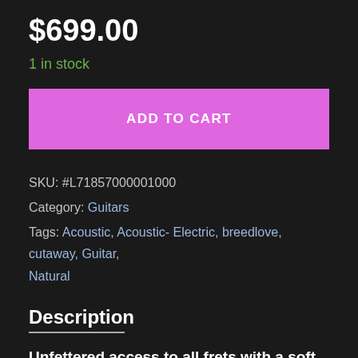$699.00
1 in stock
ADD TO CART
SKU: #L71857000001000
Category: Guitars
Tags: Acoustic, Acoustic- Electric, breedlove, cutaway, Guitar, Natural
Description
Unfettered access to all frets with a soft cutaway design
The Breedlove soft cutaway design gives you smooth